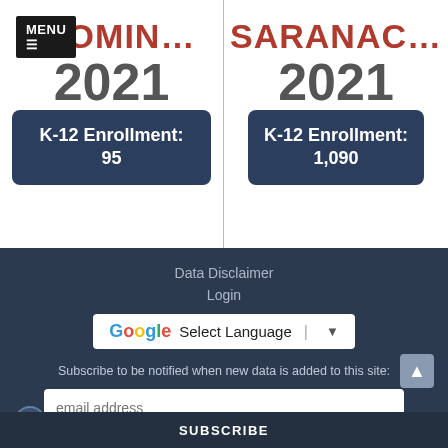[Figure (screenshot): Menu button overlay on left column]
BLOMIN...
2021
K-12 Enrollment: 95
SARANAC...
2021
K-12 Enrollment: 1,090
Data Disclaimer
Login
[Figure (screenshot): Google Translate Select Language widget]
Subscribe to be notified when new data is added to this site:
email address
SUBSCRIBE